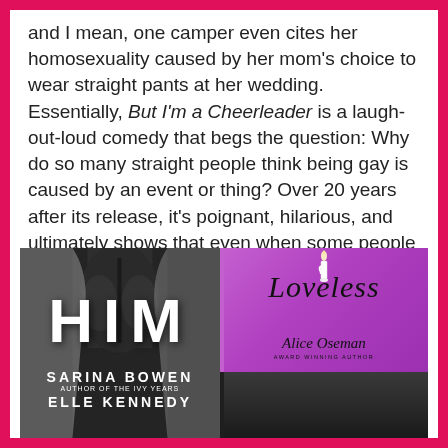and I mean, one camper even cites her homosexuality caused by her mom's choice to wear straight pants at her wedding. Essentially, But I'm a Cheerleader is a laugh-out-loud comedy that begs the question: Why do so many straight people think being gay is caused by an event or thing? Over 20 years after its release, it's poignant, hilarious, and ultimately shows that even when some people see you as different, you can still find people who will love you.
[Figure (photo): Two book covers side by side at bottom of page. Left: 'HIM' by Sarina Bowen and Elle Kennedy — dark cover with muscular torso, large white block letters. Right top: 'Loveless' by Alice Oseman — purple/magenta cover with cursive title and author name, small candle illustration at top. Right bottom: partial third book cover showing dark hair.]